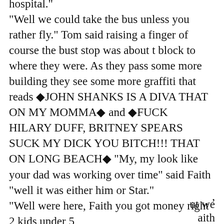hospital." "Well we could take the bus unless you rather fly." Tom said raising a finger of course the bust stop was about t block to where they were. As they pass some more building they see some more graffiti that reads ◆JOHN SHANKS IS A DIVA THAT ON MY MOMMA◆ and ◆FUCK HILARY DUFF, BRITNEY SPEARS SUCK MY DICK YOU BITCH!!! THAT ON LONG BEACH◆ "My, my look like your dad was working over time" said Faith "well it was either him or Star." "Well were here, Faith you got money right 2 kids under 5
ut we
aith
ride.
nts to
[Figure (screenshot): Cookie consent overlay with text 'This website uses cookies to ensure you get the best experience on our website.', a 'Learn more' link, and a blue 'Got it!' button.]